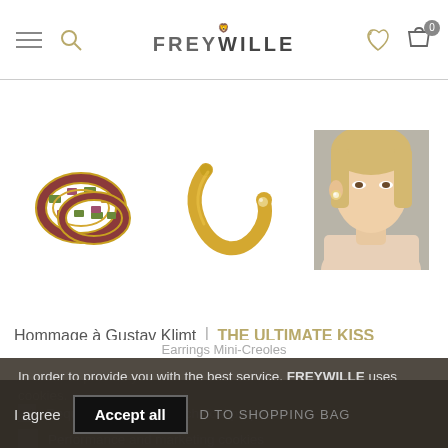FREYWILLE
[Figure (photo): Three product images of FREYWILLE earrings: enameled hoop earrings on left, gold open hoop earrings in center, model wearing earring on right]
Hommage à Gustav Klimt | THE ULTIMATE KISS
Earrings Mini-Creoles
In order to provide you with the best service, FREYWILLE uses cookies. ...
Required cookies for technical purposes
Performance and marketing cookies
I agree
Accept all
D TO SHOPPING BAG